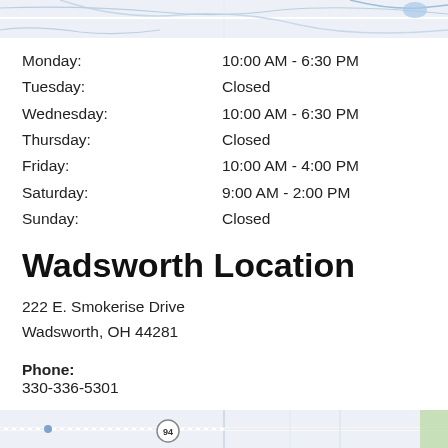[Figure (map): Top portion of a map screenshot showing roads and waterways in light blue and grey tones]
Monday: 10:00 AM - 6:30 PM
Tuesday: Closed
Wednesday: 10:00 AM - 6:30 PM
Thursday: Closed
Friday: 10:00 AM - 4:00 PM
Saturday: 9:00 AM - 2:00 PM
Sunday: Closed
Wadsworth Location
222 E. Smokerise Drive
Wadsworth, OH 44281
Phone:
330-336-5301
Fax:
330-336-5308
[Figure (map): Bottom portion of a map screenshot showing roads and route 94 marker]